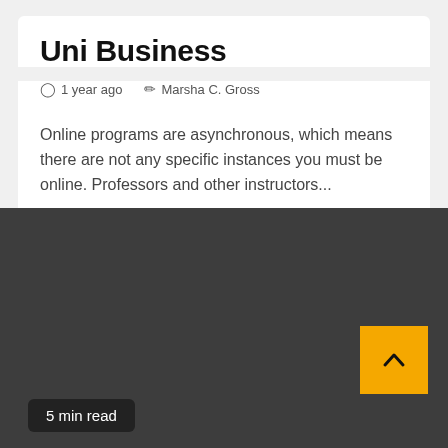Uni Business
1 year ago   Marsha C. Gross
Online programs are asynchronous, which means there are not any specific instances you must be online. Professors and other instructors...
[Figure (other): Dark gray background section filling the lower half of the page, with a yellow scroll-to-top button (chevron up icon) in the bottom-right corner]
5 min read